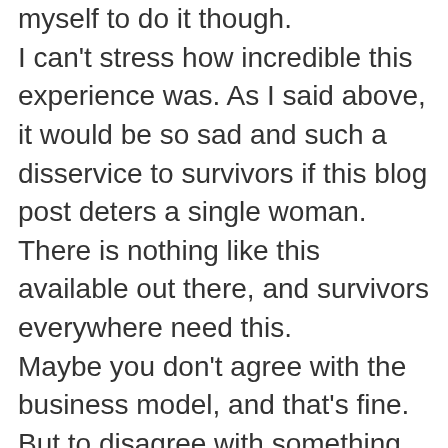myself to do it though. I can't stress how incredible this experience was. As I said above, it would be so sad and such a disservice to survivors if this blog post deters a single woman. There is nothing like this available out there, and survivors everywhere need this. Maybe you don't agree with the business model, and that's fine. But to disagree with something that helps so many women… why? What is there to gain from that? Especially when you have no first hand experience with the retreat